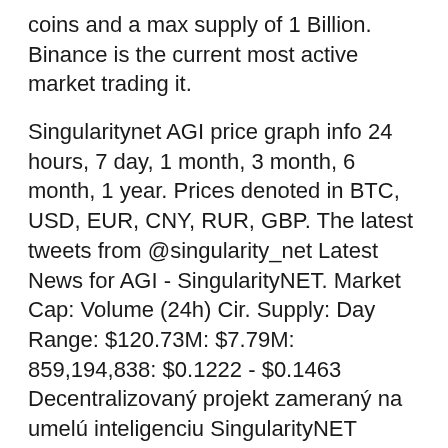coins and a max supply of 1 Billion. Binance is the current most active market trading it.
Singularitynet AGI price graph info 24 hours, 7 day, 1 month, 3 month, 6 month, 1 year. Prices denoted in BTC, USD, EUR, CNY, RUR, GBP. The latest tweets from @singularity_net Latest News for AGI - SingularityNET. Market Cap: Volume (24h) Cir. Supply: Day Range: $120.73M: $7.79M: 859,194,838: $0.1222 - $0.1463 Decentralizovaný projekt zameraný na umelú inteligenciu SingularityNET (AGI), ktorý je postavený na Ethereum blockchaine, sa definitívne sťahuje z tejto siete na konkurenčné Cardano (ADA). Kryptomena AGI sa tak stane jedným z prvých natívnych tokenov na Cardane a ako to uvádza portál Cryptoslate, pôjde zároveň o „najväčší